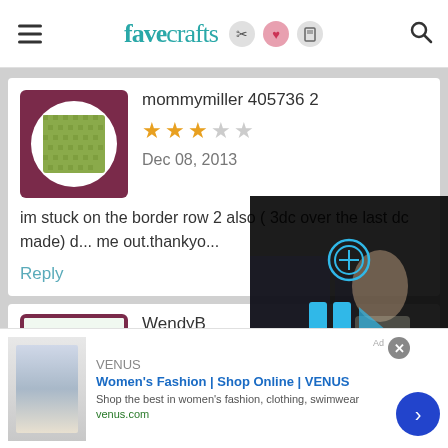favecrafts
[Figure (screenshot): User avatar with green knit/crochet pattern swatch in white circle on dark pink background]
mommymiller 405736 2
3 out of 5 stars rating
Dec 08, 2013
im stuck on the border row 2 also ( 3dc over the last dc made) d... me out.thankyo...
Reply
[Figure (screenshot): User avatar with crafts items (scissors, colored paper) on white background]
WendyB
[Figure (screenshot): Video overlay showing a person in a craft room, with play button controls and mute icon]
[Figure (screenshot): Advertisement banner: Women's Fashion | Shop Online | VENUS, venus.com]
Women's Fashion | Shop Online | VENUS
Shop the best in women's fashion, clothing, swimwear
venus.com